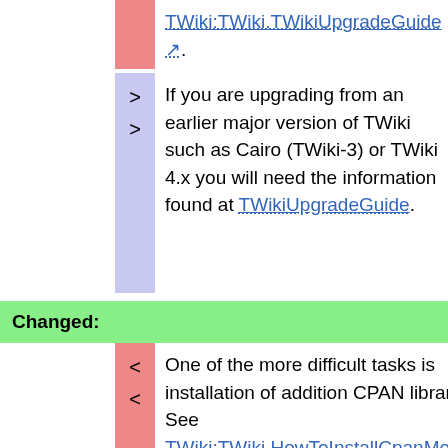TWiki:TWiki.TWikiUpgradeGuide.
If you are upgrading from an earlier major version of TWiki such as Cairo (TWiki-3) or TWiki 4.x you will need the information found at TWikiUpgradeGuide.
Changed:
One of the more difficult tasks is installation of addition CPAN libraries. See TWiki:TWiki.HowToInstallCpanModules for detailed information on how to install CPAN libraries.
One of the more difficult tasks is installation of additional CPAN libraries. See TWiki:TWiki.HowToInstallCpanModules